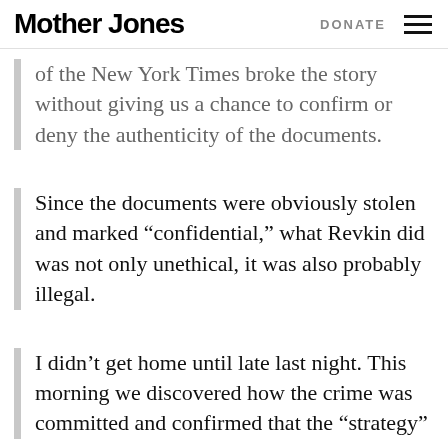Mother Jones | DONATE
of the New York Times broke the story without giving us a chance to confirm or deny the authenticity of the documents.
Since the documents were obviously stolen and marked “confidential,” what Revkin did was not only unethical, it was also probably illegal.
I didn’t get home until late last night. This morning we discovered how the crime was committed and confirmed that the “strategy”